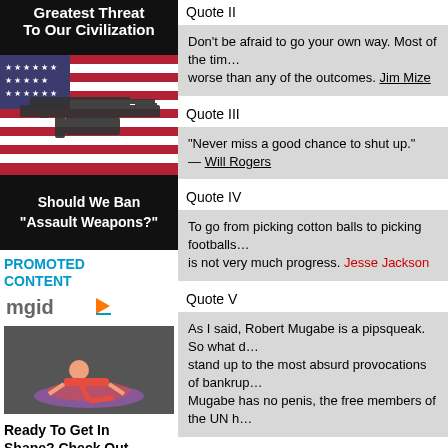[Figure (illustration): Dark background with bold white text reading 'Greatest Threat To Our Civilization', then image of assault rifle on American flag]
[Figure (illustration): Black background with bold white text: Should We Ban Assault Weapons?]
Quote II
Don't be afraid to go your own way. Most of the time the fear is worse than any of the outcomes. Jim Mize
Quote III
“Never miss a good chance to shut up.” — Will Rogers
Quote IV
To go from picking cotton balls to picking footballs is not very much progress. Jesse Jackson
PROMOTED CONTENT
[Figure (logo): mgid logo with orange play button]
[Figure (photo): Person doing push-ups on a colorful mat]
Ready To Get In Shape? Check Out These Quick Tips
Quote V
As I said, Robert Mugabe is a pipsqueak. So what do... stand up to the most absurd provocations of bankrup... Mugabe has no penis, the free members of the UN h...
*****
Remember when you fight the law you also have to figh...